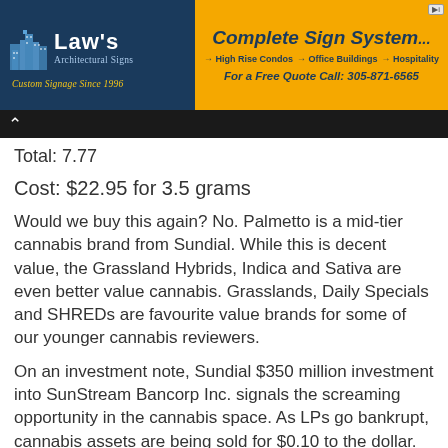[Figure (other): Law's Architectural Signs advertisement banner on left (dark blue background, white logo and text) and Complete Sign Systems advertisement on right (orange/yellow background with blue italic text, arrows, phone number)]
Total: 7.77
Cost:  $22.95 for 3.5 grams
Would we buy this again?  No.  Palmetto is a mid-tier cannabis brand from Sundial.  While this is decent value, the Grassland Hybrids, Indica and Sativa are even better value cannabis.  Grasslands, Daily Specials and SHREDs are favourite value brands for some of our younger cannabis reviewers.
On an investment note, Sundial $350 million investment into SunStream Bancorp Inc. signals the screaming opportunity in the cannabis space.   As LPs go bankrupt, cannabis assets are being sold for $0.10 to the dollar.  An Ex-Founder of Canopy is also running